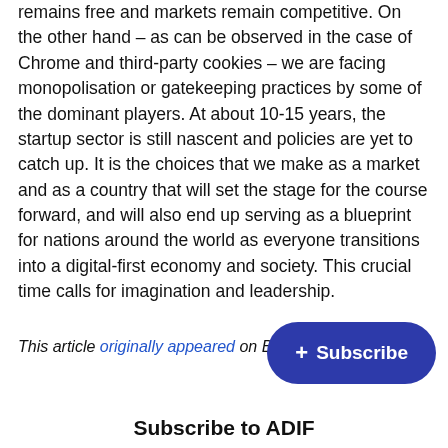remains free and markets remain competitive. On the other hand – as can be observed in the case of Chrome and third-party cookies – we are facing monopolisation or gatekeeping practices by some of the dominant players. At about 10-15 years, the startup sector is still nascent and policies are yet to catch up. It is the choices that we make as a market and as a country that will set the stage for the course forward, and will also end up serving as a blueprint for nations around the world as everyone transitions into a digital-first economy and society. This crucial time calls for imagination and leadership.
This article originally appeared on Bu…
+ Subscribe
Subscribe to ADIF